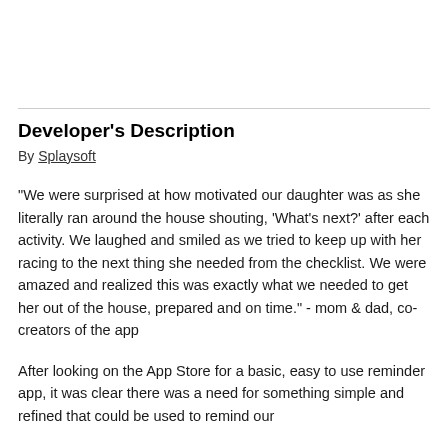Developer's Description
By Splaysoft
"We were surprised at how motivated our daughter was as she literally ran around the house shouting, 'What's next?' after each activity. We laughed and smiled as we tried to keep up with her racing to the next thing she needed from the checklist. We were amazed and realized this was exactly what we needed to get her out of the house, prepared and on time." - mom & dad, co-creators of the app
After looking on the App Store for a basic, easy to use reminder app, it was clear there was a need for something simple and refined that could be used to remind our